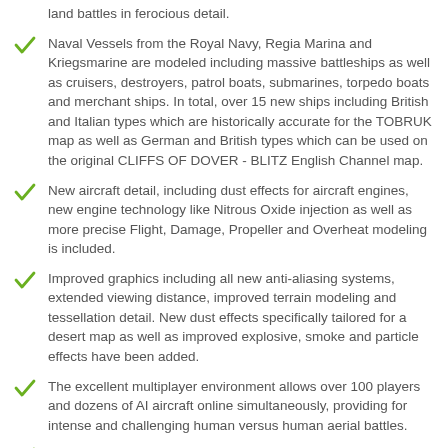land battles in ferocious detail.
Naval Vessels from the Royal Navy, Regia Marina and Kriegsmarine are modeled including massive battleships as well as cruisers, destroyers, patrol boats, submarines, torpedo boats and merchant ships. In total, over 15 new ships including British and Italian types which are historically accurate for the TOBRUK map as well as German and British types which can be used on the original CLIFFS OF DOVER - BLITZ English Channel map.
New aircraft detail, including dust effects for aircraft engines, new engine technology like Nitrous Oxide injection as well as more precise Flight, Damage, Propeller and Overheat modeling is included.
Improved graphics including all new anti-aliasing systems, extended viewing distance, improved terrain modeling and tessellation detail. New dust effects specifically tailored for a desert map as well as improved explosive, smoke and particle effects have been added.
The excellent multiplayer environment allows over 100 players and dozens of AI aircraft online simultaneously, providing for intense and challenging human versus human aerial battles.
New artificial intelligence routines and improved behavior for AI aircraft add to the excitement of detailed campaigns in Single Player for Regia Aeronautica, Luftwaffe and Royal Air Force pilots.
An updated Mission Builder provides the opportunity for player-created